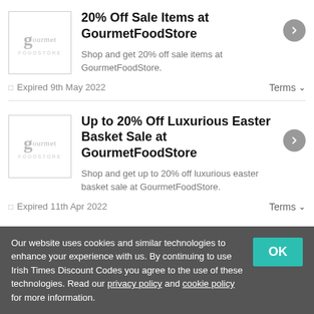[Figure (logo): GourmetFoodStore logo in a bordered square box]
20% Off Sale Items at GourmetFoodStore
Shop and get 20% off sale items at GourmetFoodStore.
Expired 9th May 2022
Terms
[Figure (logo): GourmetFoodStore logo in a bordered square box]
Up to 20% Off Luxurious Easter Basket Sale at GourmetFoodStore
Shop and get up to 20% off luxurious easter basket sale at GourmetFoodStore.
Expired 11th Apr 2022
Terms
Our website uses cookies and similar technologies to enhance your experience with us. By continuing to use Irish Times Discount Codes you agree to the use of these technologies. Read our privacy policy and cookie policy for more information.